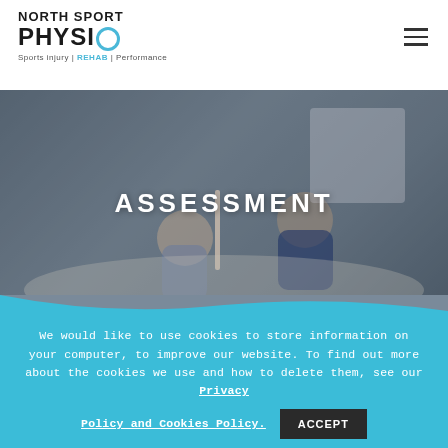[Figure (logo): North Sport Physio logo with circular O and tagline: Sports injury | REHAB | Performance]
[Figure (photo): Hero image showing two people with a spine model in a gym/physio setting, with 'ASSESSMENT' text overlay in white capital letters]
We would like to use cookies to store information on your computer, to improve our website. To find out more about the cookies we use and how to delete them, see our Privacy Policy and Cookies Policy.
ACCEPT